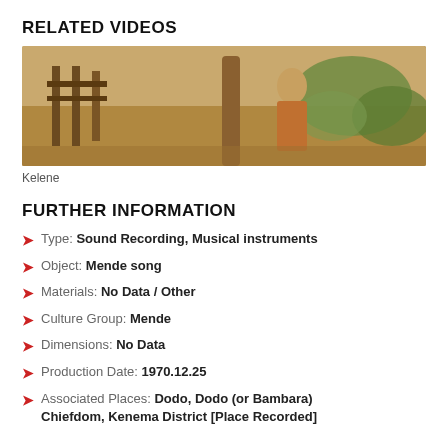RELATED VIDEOS
[Figure (photo): Video thumbnail showing outdoor scene with person, wooden structure, and trees. Play button overlay in center.]
Kelene
FURTHER INFORMATION
Type: Sound Recording, Musical instruments
Object: Mende song
Materials: No Data / Other
Culture Group: Mende
Dimensions: No Data
Production Date: 1970.12.25
Associated Places: Dodo, Dodo (or Bambara) Chiefdom, Kenema District [Place Recorded]